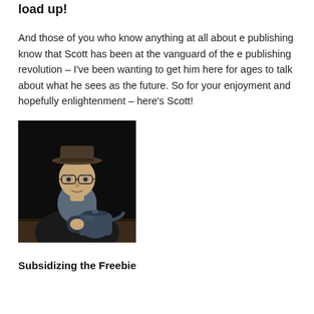load up!
And those of you who know anything at all about e publishing know that Scott has been at the vanguard of the e publishing revolution – I've been wanting to get him here for ages to talk about what he sees as the future. So for your enjoyment and hopefully enlightenment – here's Scott!
[Figure (photo): Black and white photograph of a man wearing a flat cap and glasses, holding a large metal teapot or kettle, leaning on a wooden surface against a dark background.]
Subsidizing the Freebie